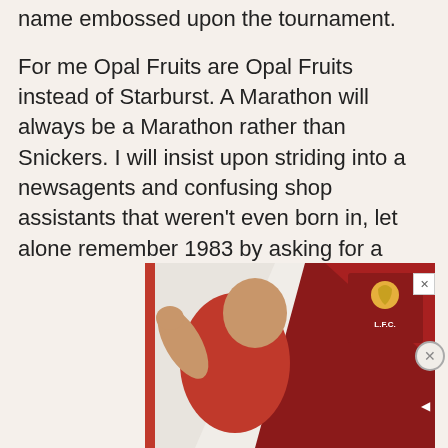name embossed upon the tournament.
For me Opal Fruits are Opal Fruits instead of Starburst. A Marathon will always be a Marathon rather than Snickers. I will insist upon striding into a newsagents and confusing shop assistants that weren’t even born in, let alone remember 1983 by asking for a Marathon. The League Cup will always be The League Cup to me.
[Figure (photo): Advertisement banner featuring a Liverpool FC player in red kit, smiling and waving, with LFC logo visible in upper right corner of the ad, and close/dismiss buttons.]